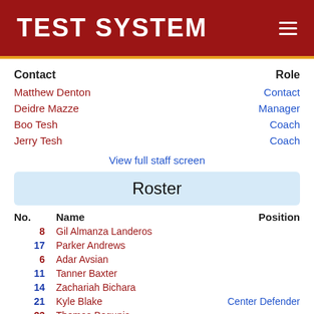TEST SYSTEM
| Contact | Role |
| --- | --- |
| Matthew Denton | Contact |
| Deidre Mazze | Manager |
| Boo Tesh | Coach |
| Jerry Tesh | Coach |
View full staff screen
Roster
| No. | Name | Position |
| --- | --- | --- |
| 8 | Gil Almanza Landeros |  |
| 17 | Parker Andrews |  |
| 6 | Adar Avsian |  |
| 11 | Tanner Baxter |  |
| 14 | Zachariah Bichara |  |
| 21 | Kyle Blake | Center Defender |
| 23 | Thomas Bogunia |  |
| 8 | Isaiah Borders |  |
| 27 | Desmond Bullard | Defensive/Mid |
| 16 | Brian Carmona Romero |  |